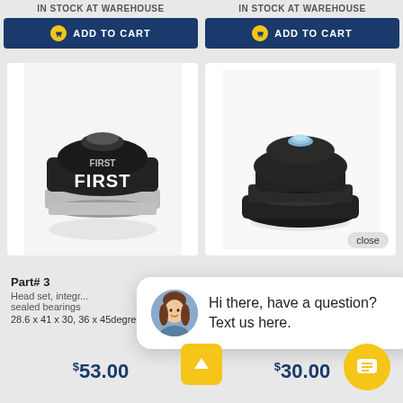IN STOCK AT WAREHOUSE
IN STOCK AT WAREHOUSE
ADD TO CART
ADD TO CART
[Figure (photo): Black bicycle headset component branded FIRST with silver accents]
[Figure (photo): Black rubber bicycle headset component with metal bolt on top, close button visible]
Part# 3
Head set, integr... sealed bearings
28.6 x 41 x 30, 36 x 45degree
black
Hi there, have a question? Text us here.
$53.00
$30.00